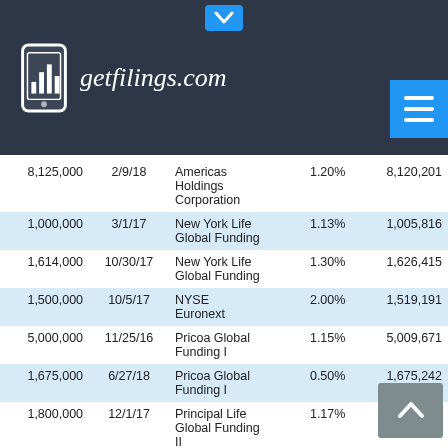getfilings.com
| Amount | Date | Issuer | Rate | Value |
| --- | --- | --- | --- | --- |
| 8,125,000 | 2/9/18 | Americas Holdings Corporation | 1.20% | 8,120,20… |
| 1,000,000 | 3/1/17 | New York Life Global Funding | 1.13% | 1,005,81… |
| 1,614,000 | 10/30/17 | New York Life Global Funding | 1.30% | 1,626,41… |
| 1,500,000 | 10/5/17 | NYSE Euronext | 2.00% | 1,519,19… |
| 5,000,000 | 11/25/16 | Pricoa Global Funding I | 1.15% | 5,009,67… |
| 1,675,000 | 6/27/18 | Pricoa Global Funding I | 0.50% | 1,675,24… |
| 1,800,000 | 12/1/17 | Principal Life Global Funding II | 1.17% | 1,804,39… |
| 2,000,000 | 9/26/16 | UBS AG | 1.14% | 2,001,60… |
| 1,000,000 | 6/1/17 | UBS AG | 1.38% | 1,002,66… |
| 4,750,000 | 6/1/17 | UBS AG | 1.23% | 4,756,92… |
| 1,757,000 | 12/13/16 | USAA Capital Corporation | 2.25% | 1,778,… |